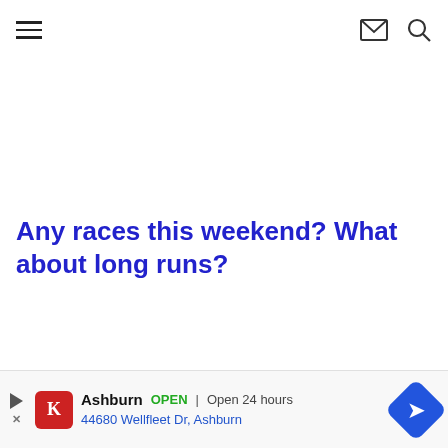[hamburger menu icon] [envelope icon] [search icon]
Any races this weekend?  What about long runs?
[Figure (screenshot): Advertisement bar at bottom: Ashburn OPEN | Open 24 hours, 44680 Wellfleet Dr, Ashburn, with Kroger logo and navigation arrow icon]